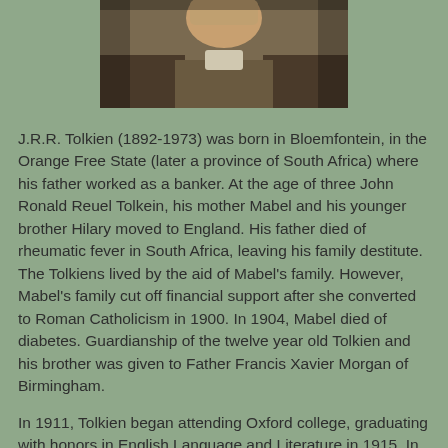[Figure (photo): Black and white or sepia-toned photograph of an elderly man, partially cropped, showing his upper body and hands.]
J.R.R. Tolkien (1892-1973) was born in Bloemfontein, in the Orange Free State (later a province of South Africa) where his father worked as a banker. At the age of three John Ronald Reuel Tolkein, his mother Mabel and his younger brother Hilary moved to England.  His father died of rheumatic fever in South Africa, leaving his family destitute. The Tolkiens lived by the aid of Mabel's family.  However, Mabel's family cut off financial support after she converted to Roman Catholicism in 1900.  In 1904, Mabel died of diabetes.  Guardianship of the twelve year old Tolkien and his brother was given to Father Francis Xavier Morgan of Birmingham.
In 1911, Tolkien began attending Oxford college, graduating with honors in English Language and Literature in 1915. In 1913, after a five year, interrupted courtship, Tolkien and Edith Bratt became engaged.  The two married in March